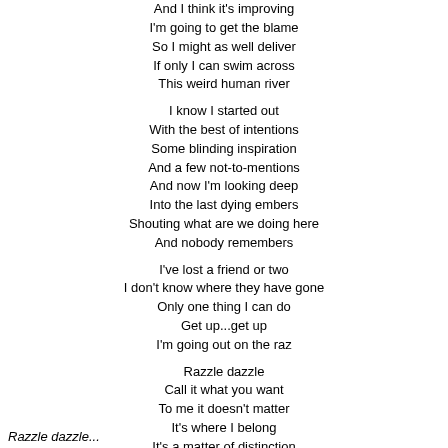And I think it's improving
I'm going to get the blame
So I might as well deliver
If only I can swim across
This weird human river

I know I started out
With the best of intentions
Some blinding inspiration
And a few not-to-mentions
And now I'm looking deep
Into the last dying embers
Shouting what are we doing here
And nobody remembers

I've lost a friend or two
I don't know where they have gone
Only one thing I can do
Get up...get up
I'm going out on the raz

Razzle dazzle
Call it what you want
To me it doesn't matter
It's where I belong
It's a matter of distinction
A real fine line
Between an orgy of destruction
And a wonderful time
Razzle dazzle...